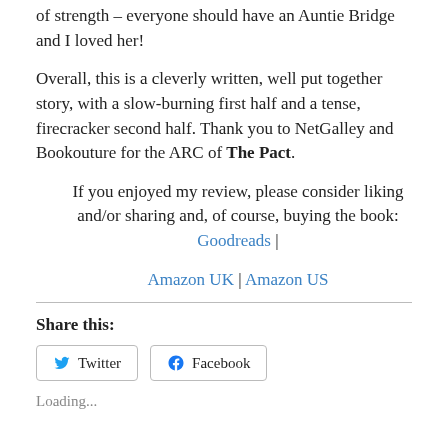of strength – everyone should have an Auntie Bridge and I loved her!
Overall, this is a cleverly written, well put together story, with a slow-burning first half and a tense, firecracker second half. Thank you to NetGalley and Bookouture for the ARC of The Pact.
If you enjoyed my review, please consider liking and/or sharing and, of course, buying the book: Goodreads | Amazon UK | Amazon US
Share this:
Twitter Facebook
Loading...